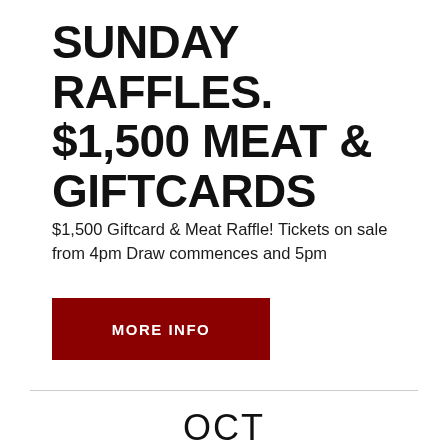SUNDAY RAFFLES. $1,500 MEAT & GIFTCARDS
$1,500 Giftcard & Meat Raffle! Tickets on sale from 4pm Draw commences and 5pm
MORE INFO
OCT
23